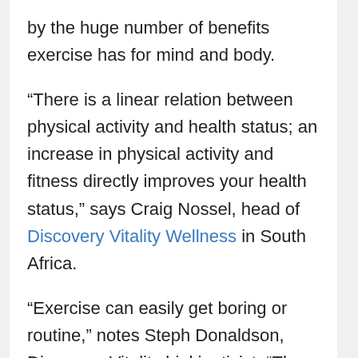by the huge number of benefits exercise has for mind and body.
“There is a linear relation between physical activity and health status; an increase in physical activity and fitness directly improves your health status,” says Craig Nossel, head of Discovery Vitality Wellness in South Africa.
“Exercise can easily get boring or routine,” notes Steph Donaldson, Discovery Vitality biokineticist. “The multidisciplinary nature of triathlons keeps training interesting and challenging. Plus, the variety of racing